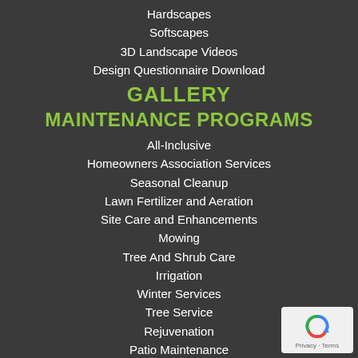Hardscapes
Softscapes
3D Landscape Videos
Design Questionnaire Download
GALLERY
MAINTENANCE PROGRAMS
All-Inclusive
Homeowners Association Services
Seasonal Cleanup
Lawn Fertilizer and Aeration
Site Care and Enhancements
Mowing
Tree And Shrub Care
Irrigation
Winter Services
Tree Service
Rejuvenation
Patio Maintenance
TESTIMONIALS
DRAINAGE SOLUTIONS
[Figure (logo): Google reCAPTCHA badge with blue/red/green arrow icon and Privacy - Terms text]